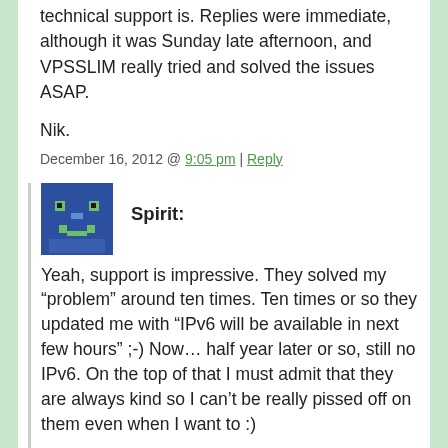technical support is. Replies were immediate, although it was Sunday late afternoon, and VPSSLIM really tried and solved the issues ASAP.
Nik.
December 16, 2012 @ 9:05 pm | Reply
[Figure (illustration): Pixel art avatar icon of a character on dark blue background]
Spirit: Yeah, support is impressive. They solved my “problem” around ten times. Ten times or so they updated me with “IPv6 will be available in next few hours” ;-) Now… half year later or so, still no IPv6. On the top of that I must admit that they are always kind so I can’t be really pissed off on them even when I want to :)
December 16, 2012 @ 9:44 pm | Reply